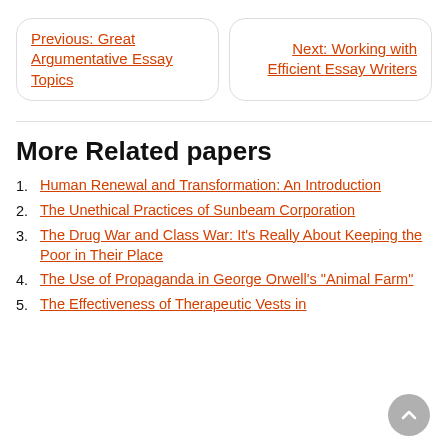Previous: Great Argumentative Essay Topics
Next: Working with Efficient Essay Writers
More Related papers
1. Human Renewal and Transformation: An Introduction
2. The Unethical Practices of Sunbeam Corporation
3. The Drug War and Class War: It's Really About Keeping the Poor in Their Place
4. The Use of Propaganda in George Orwell's "Animal Farm"
5. The Effectiveness of Therapeutic Vests in